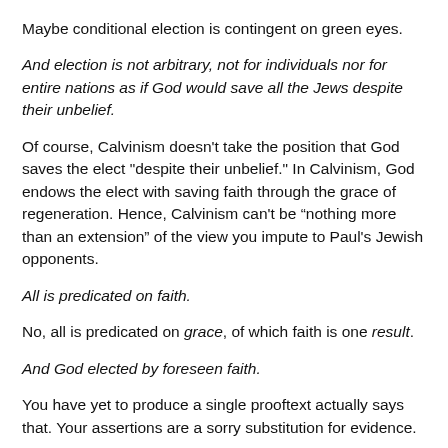Maybe conditional election is contingent on green eyes.
And election is not arbitrary, not for individuals nor for entire nations as if God would save all the Jews despite their unbelief.
Of course, Calvinism doesn't take the position that God saves the elect "despite their unbelief." In Calvinism, God endows the elect with saving faith through the grace of regeneration. Hence, Calvinism can't be “nothing more than an extension” of the view you impute to Paul's Jewish opponents.
All is predicated on faith.
No, all is predicated on grace, of which faith is one result.
And God elected by foreseen faith.
You have yet to produce a single prooftext actually says that. Your assertions are a sorry substitution for evidence.